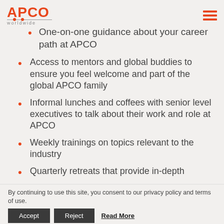APCO worldwide
One-on-one guidance about your career path at APCO
Access to mentors and global buddies to ensure you feel welcome and part of the global APCO family
Informal lunches and coffees with senior level executives to talk about their work and role at APCO
Weekly trainings on topics relevant to the industry
Quarterly retreats that provide in-depth
By continuing to use this site, you consent to our privacy policy and terms of use. Accept Reject Read More